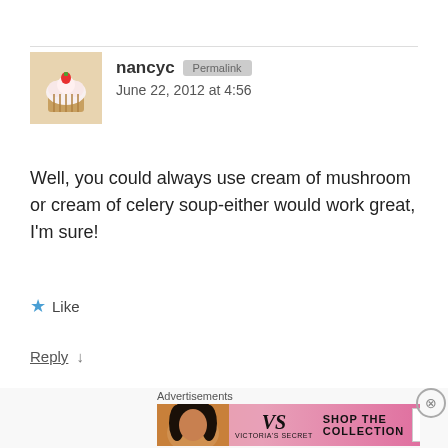[Figure (photo): Avatar photo of nancyc — a cupcake with a strawberry on top]
nancyc [Permalink] June 22, 2012 at 4:56
Well, you could always use cream of mushroom or cream of celery soup-either would work great, I'm sure!
★ Like
Reply ↓
Advertisements
[Figure (screenshot): Jetpack advertisement banner — green background with Jetpack logo and 'Secure Your Site' button]
Advertisements
[Figure (screenshot): Victoria's Secret advertisement — pink background with VS logo, 'SHOP THE COLLECTION' text and 'SHOP NOW' button]